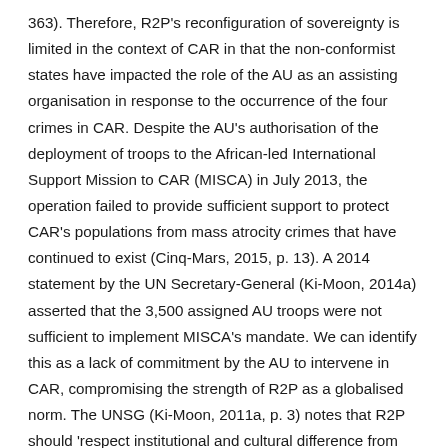363). Therefore, R2P's reconfiguration of sovereignty is limited in the context of CAR in that the non-conformist states have impacted the role of the AU as an assisting organisation in response to the occurrence of the four crimes in CAR. Despite the AU's authorisation of the deployment of troops to the African-led International Support Mission to CAR (MISCA) in July 2013, the operation failed to provide sufficient support to protect CAR's populations from mass atrocity crimes that have continued to exist (Cinq-Mars, 2015, p. 13). A 2014 statement by the UN Secretary-General (Ki-Moon, 2014a) asserted that the 3,500 assigned AU troops were not sufficient to implement MISCA's mandate. We can identify this as a lack of commitment by the AU to intervene in CAR, compromising the strength of R2P as a globalised norm. The UNSG (Ki-Moon, 2011a, p. 3) notes that R2P should 'respect institutional and cultural difference from region to region', while advocates of the global norm